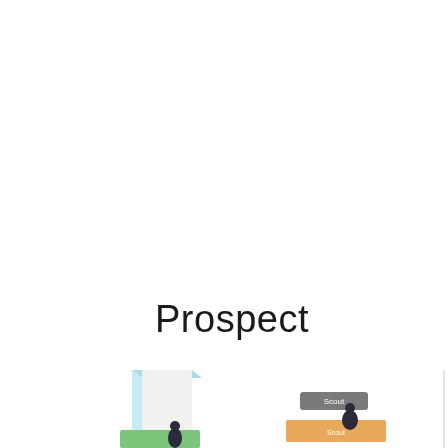Prospect
[Figure (illustration): Partial view of a 3D illustrated scene showing colored platform/podium elements with small figure characters. Left side shows a tall white rectangular pillar with a light blue top and a green platform base with a small dark figure. Center shows a grey label 'Scout' and an orange/tan platform labeled 'Scout' with a small dark figure. Right side shows a blue label 'Carter' and a blue 3D character figure wearing a VR headset on a blue base.]